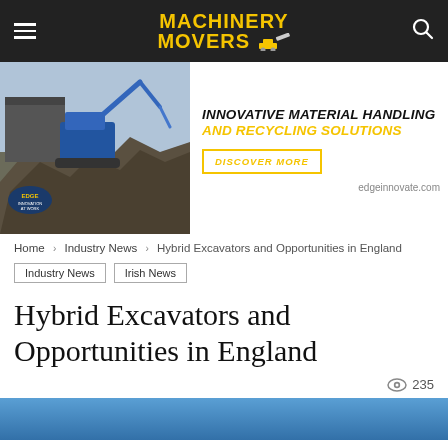Machinery Movers — navigation header with hamburger menu and search icon
[Figure (infographic): Edge Innovate advertisement banner showing a blue excavator handling scrap metal at a recycling yard, with text 'INNOVATIVE MATERIAL HANDLING AND RECYCLING SOLUTIONS', a 'DISCOVER MORE' button, and edgeinnovate.com URL]
Home › Industry News › Hybrid Excavators and Opportunities in England
Industry News   Irish News
Hybrid Excavators and Opportunities in England
👁 235